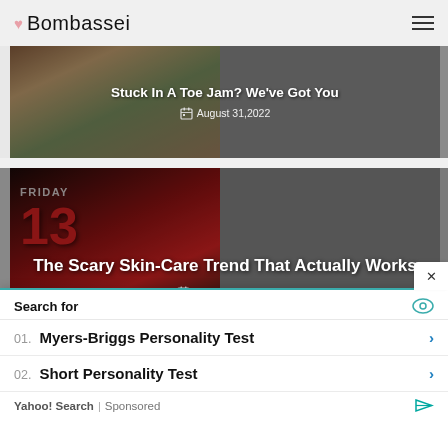Bombassei
Stuck In A Toe Jam? We've Got You
August 31,2022
The Scary Skin-Care Trend That Actually Works
August 31,2022
Search for
01. Myers-Briggs Personality Test
02. Short Personality Test
Yahoo! Search | Sponsored